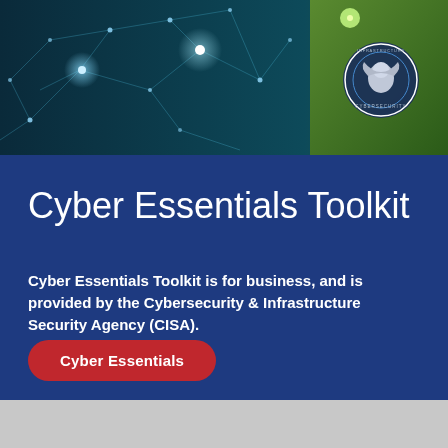[Figure (illustration): Banner image with network nodes and glowing blue connection lines on a dark teal background, with a green gradient panel on the right containing the CISA circular seal/logo in white and blue.]
Cyber Essentials Toolkit
Cyber Essentials Toolkit is for business, and is provided by the Cybersecurity & Infrastructure Security Agency (CISA).
Cyber Essentials